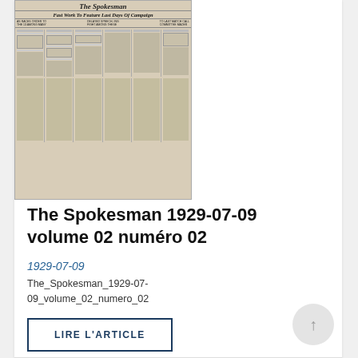[Figure (photo): Thumbnail image of a historical newspaper front page for The Spokesman, dated 1929-07-09. The headline reads 'Fast Work To Feature Last Days Of Campaign'. The newspaper appears aged/sepia-toned with multiple columns of small text.]
The Spokesman 1929-07-09 volume 02 numéro 02
1929-07-09
The_Spokesman_1929-07-09_volume_02_numero_02
LIRE L'ARTICLE